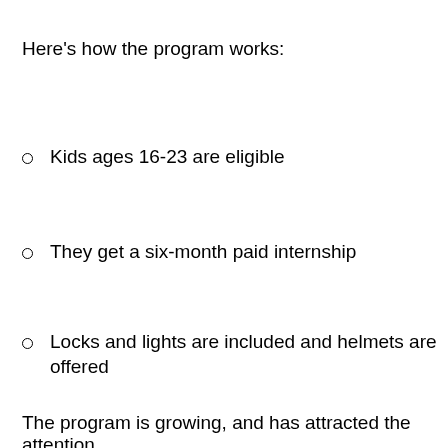Here's how the program works:
Kids ages 16-23 are eligible
They get a six-month paid internship
Locks and lights are included and helmets are offered
The program is growing, and has attracted the attention